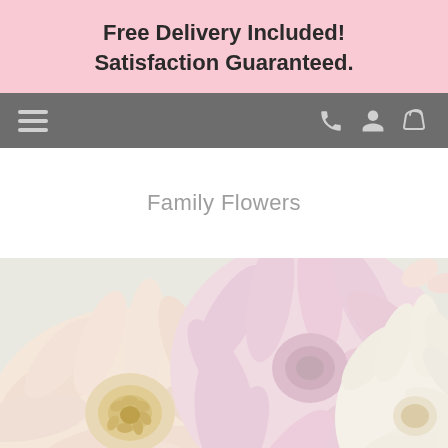Free Delivery Included! Satisfaction Guaranteed.
[Figure (screenshot): Navigation bar with hamburger menu icon on the left and phone, user, and cart icons on the right, on a gray background]
Family Flowers
[Figure (photo): Close-up photograph of pastel dahlia flowers in pink, cream, and white tones]